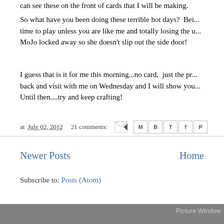can see these on the front of cards that I will be making.
So what have you been doing these terrible hot days? Bei... time to play unless you are like me and totally losing the u... MoJo locked away so she doesn't slip out the side door!
I guess that is it for me this morning...no card, just the pr... back and visit with me on Wednesday and I will show you... Until then....try and keep crafting!
at July 02, 2012   21 comments:
Newer Posts
Home
Subscribe to: Posts (Atom)
Picture Window